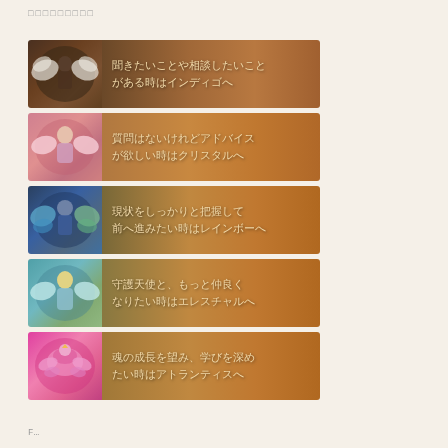□□□□□□□□□
[Figure (illustration): Banner 1: Angel with wings illustration on left, warm brown background. Text: 聞きたいことや相談したいことがある時はインディゴへ]
[Figure (illustration): Banner 2: Female angel illustration on left, amber background. Text: 質問はないけれどアドバイスが欲しい時はクリスタルへ]
[Figure (illustration): Banner 3: Blue/colorful angel illustration on left, amber-warm background. Text: 現状をしっかりと把握して前へ進みたい時はレインボーへ]
[Figure (illustration): Banner 4: Blonde angel illustration on left, teal-to-amber background. Text: 守護天使と、もっと仲良くなりたい時はエレスチャルへ]
[Figure (illustration): Banner 5: Pink phoenix/bird illustration on left, pink-amber background. Text: 魂の成長を望み、学びを深めたい時はアトランティスへ]
F…